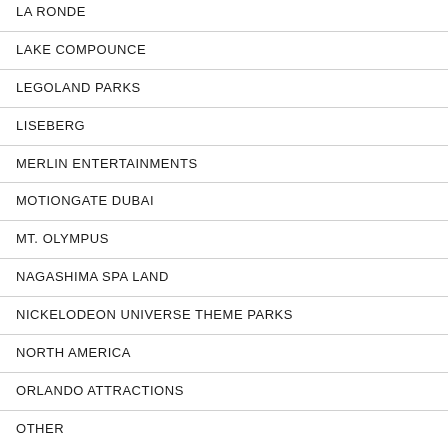LA RONDE
LAKE COMPOUNCE
LEGOLAND PARKS
LISEBERG
MERLIN ENTERTAINMENTS
MOTIONGATE DUBAI
MT. OLYMPUS
NAGASHIMA SPA LAND
NICKELODEON UNIVERSE THEME PARKS
NORTH AMERICA
ORLANDO ATTRACTIONS
OTHER
PARC ASTERIX
PHANTASIALAND